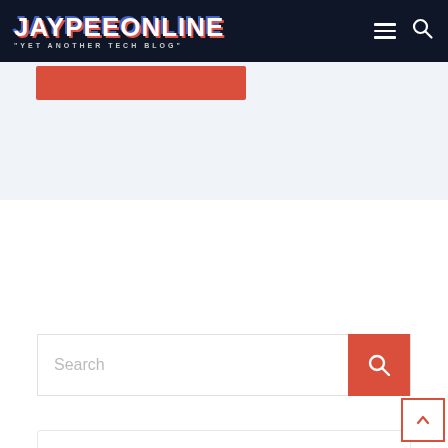JAYPEEONLINE — "YET ANOTHER TECH BLOG"
[Figure (screenshot): Light blue content card area with a partially visible red button at the top left]
[Figure (screenshot): Search bar with placeholder text 'Search' and a red search button on the right]
Get new posts by email: